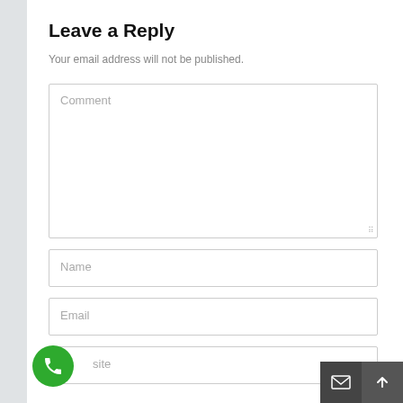Leave a Reply
Your email address will not be published.
[Figure (screenshot): Comment text area input field with placeholder text 'Comment']
[Figure (screenshot): Name input field with placeholder text 'Name']
[Figure (screenshot): Email input field with placeholder text 'Email']
[Figure (screenshot): Website input field with placeholder text partially visible 'site', with green phone button bottom-left and dark mail/up buttons bottom-right]